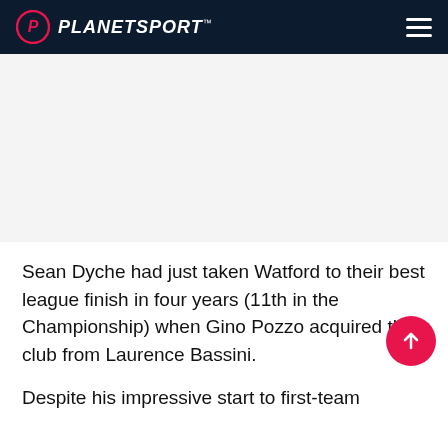PLANETSPORT
[Figure (other): Advertisement or image placeholder area (blank/white space)]
Sean Dyche had just taken Watford to their best league finish in four years (11th in the Championship) when Gino Pozzo acquired the club from Laurence Bassini.
Despite his impressive start to first-team